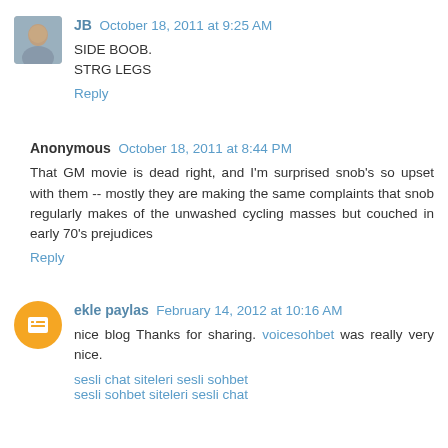JB October 18, 2011 at 9:25 AM
SIDE BOOB.
STRG LEGS
Reply
Anonymous October 18, 2011 at 8:44 PM
That GM movie is dead right, and I'm surprised snob's so upset with them -- mostly they are making the same complaints that snob regularly makes of the unwashed cycling masses but couched in early 70's prejudices
Reply
ekle paylas February 14, 2012 at 10:16 AM
nice blog Thanks for sharing. voicesohbet was really very nice.
sesli chat siteleri sesli sohbet
sesli sohbet siteleri sesli chat